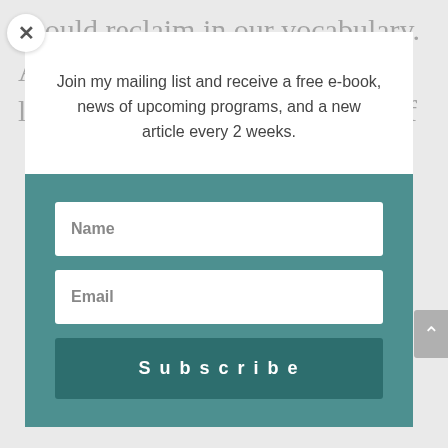should reclaim in our vocabulary. According to dictionary.com, a lament is “a formal expression of
Join my mailing list and receive a free e-book, news of upcoming programs, and a new article every 2 weeks.
Name
Email
Subscribe